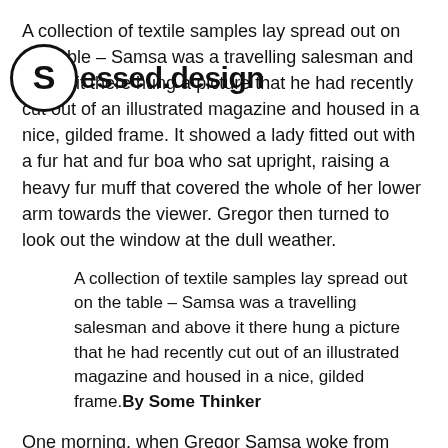A collection of textile samples lay spread out on the table – Samsa was a travelling salesman and above it there hung a picture that he had recently cut out of an illustrated magazine and housed in a nice, gilded frame. It showed a lady fitted out with a fur hat and fur boa who sat upright, raising a heavy fur muff that covered the whole of her lower arm towards the viewer. Gregor then turned to look out the window at the dull weather.
[Figure (logo): Watermark overlay with circle containing letter S and text 'essed.design' in bold]
A collection of textile samples lay spread out on the table – Samsa was a travelling salesman and above it there hung a picture that he had recently cut out of an illustrated magazine and housed in a nice, gilded frame.By Some Thinker
One morning, when Gregor Samsa woke from troubled dreams, he found himself transformed in his bed into a horrible vermin. He lay on his armour-like back, and if he lifted his head a little he could see his brown belly, slightly